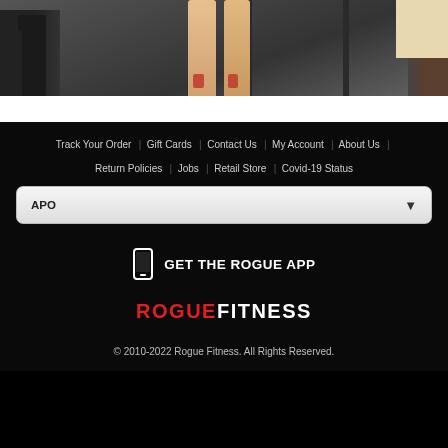[Figure (photo): Gym photo showing athlete's legs at a power rack with weight plates, red athletic tape on calves/feet visible, gym equipment in background]
Track Your Order | Gift Cards | Contact Us | My Account | About Us | Return Policies | Jobs | Retail Store | Covid-19 Status
APO (dropdown)
GET THE ROGUE APP
[Figure (logo): ROGUEFITNESS logo — ROGUE in red, FITNESS in white]
© 2010-2022 Rogue Fitness. All Rights Reserved.